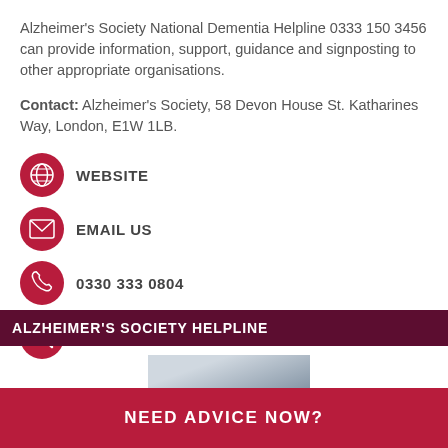Alzheimer's Society National Dementia Helpline 0333 150 3456 can provide information, support, guidance and signposting to other appropriate organisations.
Contact: Alzheimer's Society, 58 Devon House St. Katharines Way, London, E1W 1LB.
WEBSITE
EMAIL US
0330 333 0804
VIEW DETAILS
ALZHEIMER'S SOCIETY HELPLINE
[Figure (photo): Partial photo of a woman, visible from neck up, light background]
NEED ADVICE NOW?